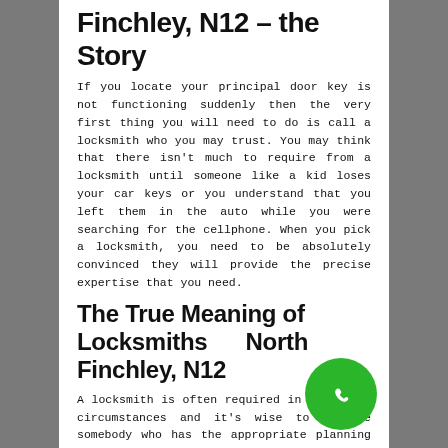Finchley, N12 – the Story
If you locate your principal door key is not functioning suddenly then the very first thing you will need to do is call a locksmith who you may trust. You may think that there isn't much to require from a locksmith until someone like a kid loses your car keys or you understand that you left them in the auto while you were searching for the cellphone. When you pick a locksmith, you need to be absolutely convinced they will provide the precise expertise that you need.
The True Meaning of Locksmiths North Finchley, N12
A locksmith is often required in emergency circumstances and it's wise to acquire somebody who has the appropriate planning to manage lockout problems. As you seek a local locksmith, take the opportunity to try to remember that it's a craft the same as any other. While you attempt to locate a
[Figure (illustration): Green circular phone/call button icon in the bottom-right corner]